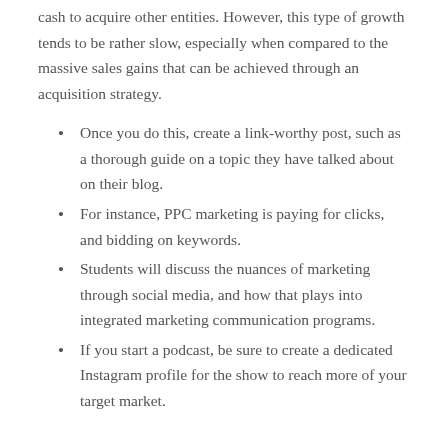cash to acquire other entities. However, this type of growth tends to be rather slow, especially when compared to the massive sales gains that can be achieved through an acquisition strategy.
Once you do this, create a link-worthy post, such as a thorough guide on a topic they have talked about on their blog.
For instance, PPC marketing is paying for clicks, and bidding on keywords.
Students will discuss the nuances of marketing through social media, and how that plays into integrated marketing communication programs.
If you start a podcast, be sure to create a dedicated Instagram profile for the show to reach more of your target market.